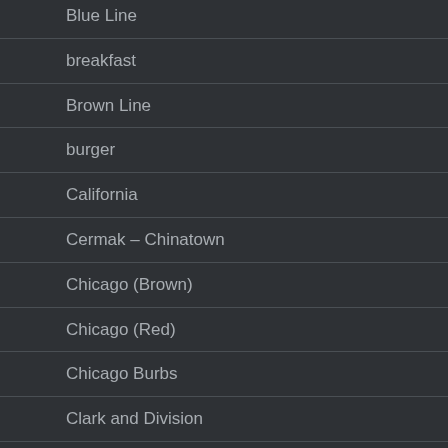Blue Line
breakfast
Brown Line
burger
California
Cermak – Chinatown
Chicago (Brown)
Chicago (Red)
Chicago Burbs
Clark and Division
Clark and Lake
Clint…